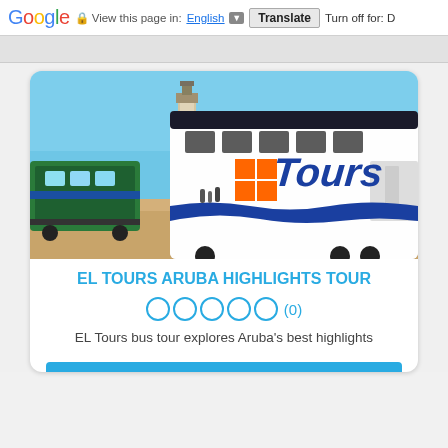Google  View this page in: English [▼]  Translate  Turn off for: D
[Figure (photo): Photo of a white EL Tours bus parked near a lighthouse in Aruba under a clear blue sky]
EL TOURS ARUBA HIGHLIGHTS TOUR
○○○○○ (0)
EL Tours bus tour explores Aruba's best highlights